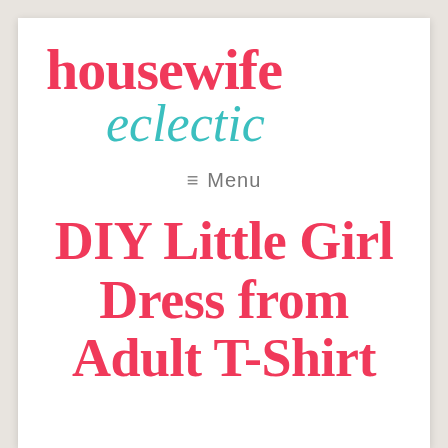[Figure (logo): Housewife Eclectic blog logo with 'housewife' in bold red/pink and 'eclectic' in teal cursive italic]
≡ Menu
DIY Little Girl Dress from Adult T-Shirt